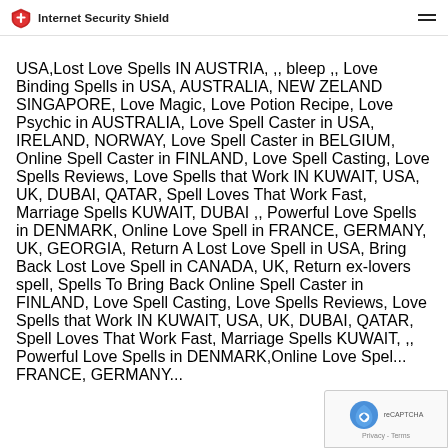Internet Security Shield
USA,Lost Love Spells IN AUSTRIA, ,, bleep ,, Love Binding Spells in USA, AUSTRALIA, NEW ZELAND SINGAPORE, Love Magic, Love Potion Recipe, Love Psychic in AUSTRALIA, Love Spell Caster in USA, IRELAND, NORWAY, Love Spell Caster in BELGIUM, Online Spell Caster in FINLAND, Love Spell Casting, Love Spells Reviews, Love Spells that Work IN KUWAIT, USA, UK, DUBAI, QATAR, Spell Loves That Work Fast, Marriage Spells KUWAIT, DUBAI ,, Powerful Love Spells in DENMARK, Online Love Spell in FRANCE, GERMANY, UK, GEORGIA, Return A Lost Love Spell in USA, Bring Back Lost Love Spell in CANADA, UK, Return ex-lovers spell, Spells To Bring Back Online Spell Caster in FINLAND, Love Spell Casting, Love Spells Reviews, Love Spells that Work IN KUWAIT, USA, UK, DUBAI, QATAR, Spell Loves That Work Fast, Marriage Spells KUWAIT, ,, Powerful Love Spells in DENMARK,Online Love Spel... FRANCE, GERMANY...